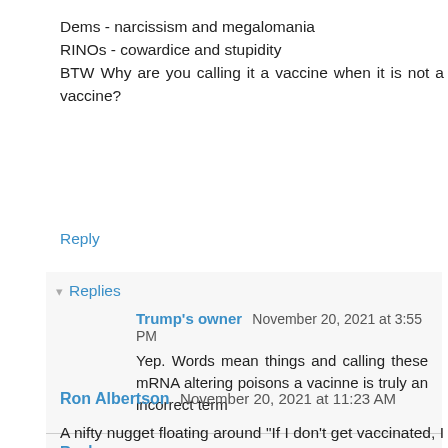Dems - narcissism and megalomania
RINOs - cowardice and stupidity
BTW Why are you calling it a vaccine when it is not a vaccine?
Reply
Replies
Trump's owner  November 20, 2021 at 3:55 PM
Yep. Words mean things and calling these mRNA altering poisons a vacinne is truly an incorrect term
Reply
Ron Albertson  November 20, 2021 at 11:23 AM
A nifty nugget floating around "If I don't get vaccinated, I am 100% protected against the vaccine side effects, and 99.8% protected against dying from covid." Much of what